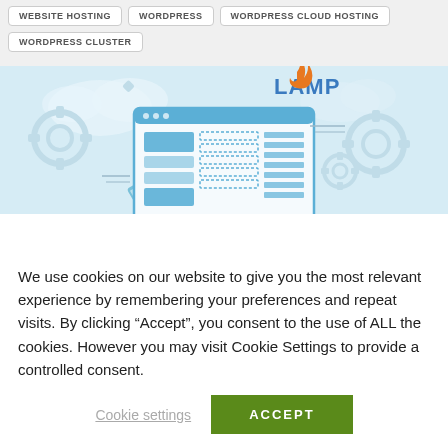WEBSITE HOSTING
WORDPRESS
WORDPRESS CLOUD HOSTING
WORDPRESS CLUSTER
[Figure (illustration): LAMP stack illustration showing a desktop computer monitor with a website layout, gears, and the LAMP logo with an orange flame icon on a light blue background.]
We use cookies on our website to give you the most relevant experience by remembering your preferences and repeat visits. By clicking “Accept”, you consent to the use of ALL the cookies. However you may visit Cookie Settings to provide a controlled consent.
Cookie settings
ACCEPT